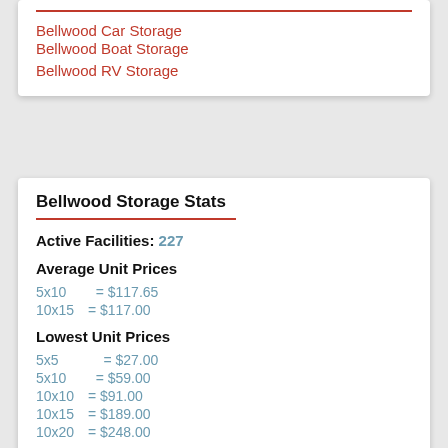Bellwood Car Storage
Bellwood Boat Storage
Bellwood RV Storage
Bellwood Storage Stats
Active Facilities: 227
Average Unit Prices
5x10   = $117.65
10x15 = $117.00
Lowest Unit Prices
5x5     = $27.00
5x10   = $59.00
10x10 = $91.00
10x15 = $189.00
10x20 = $248.00